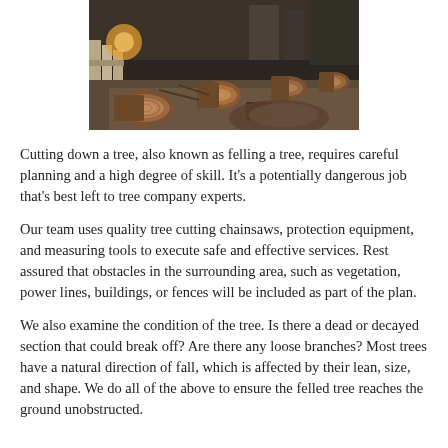[Figure (photo): Outdoor scene showing multiple cut tree logs and stumps scattered on dirt ground near a wooden fence, with trees and structures in background, warm golden light on left side.]
Cutting down a tree, also known as felling a tree, requires careful planning and a high degree of skill. It's a potentially dangerous job that's best left to tree company experts.
Our team uses quality tree cutting chainsaws, protection equipment, and measuring tools to execute safe and effective services. Rest assured that obstacles in the surrounding area, such as vegetation, power lines, buildings, or fences will be included as part of the plan.
We also examine the condition of the tree. Is there a dead or decayed section that could break off? Are there any loose branches? Most trees have a natural direction of fall, which is affected by their lean, size, and shape. We do all of the above to ensure the felled tree reaches the ground unobstructed.